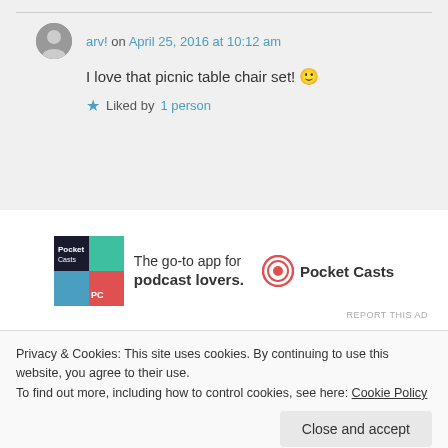arv! on April 25, 2016 at 10:12 am
I love that picnic table chair set! 🙂
Liked by 1 person
[Figure (illustration): Pocket Casts advertisement: colorful app icon on left, text 'The go-to app for podcast lovers.' in center, Pocket Casts logo on right]
REPORT THIS AD
Privacy & Cookies: This site uses cookies. By continuing to use this website, you agree to their use.
To find out more, including how to control cookies, see here: Cookie Policy
Close and accept
Liked by 1 person